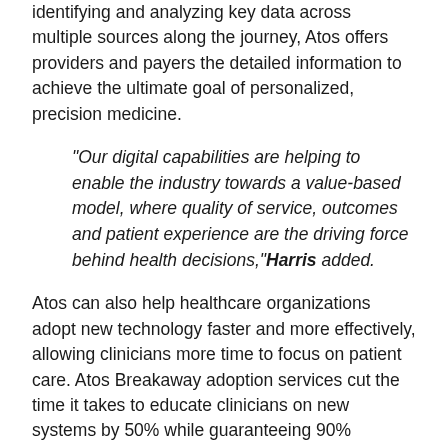identifying and analyzing key data across multiple sources along the journey, Atos offers providers and payers the detailed information to achieve the ultimate goal of personalized, precision medicine.
"Our digital capabilities are helping to enable the industry towards a value-based model, where quality of service, outcomes and patient experience are the driving force behind health decisions," Harris added.
Atos can also help healthcare organizations adopt new technology faster and more effectively, allowing clinicians more time to focus on patient care. Atos Breakaway adoption services cut the time it takes to educate clinicians on new systems by 50% while guaranteeing 90% proficiency in new clinical or business IT solution applications.
Atos healthcare solutions will be showcased at the HIMSS18 Conference in Las Vegas, NV March 5-9, 2018.
Atos works with almost 300 healthcare companies across the U.S. to modernize their technology foundations and secure